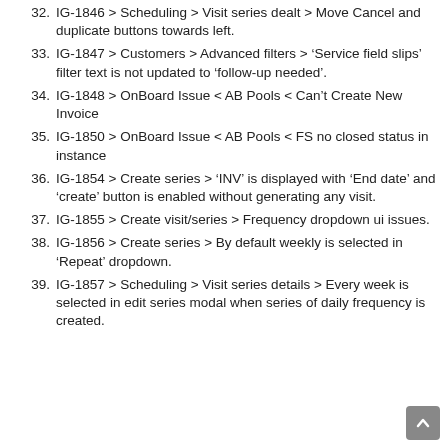32. IG-1846 > Scheduling > Visit series dealt > Move Cancel and duplicate buttons towards left.
33. IG-1847 > Customers > Advanced filters > 'Service field slips' filter text is not updated to 'follow-up needed'.
34. IG-1848 > OnBoard Issue < AB Pools < Can't Create New Invoice
35. IG-1850 > OnBoard Issue < AB Pools < FS no closed status in instance
36. IG-1854 > Create series > 'INV' is displayed with 'End date' and 'create' button is enabled without generating any visit.
37. IG-1855 > Create visit/series > Frequency dropdown ui issues.
38. IG-1856 > Create series > By default weekly is selected in 'Repeat' dropdown.
39. IG-1857 > Scheduling > Visit series details > Every week is selected in edit series modal when series of daily frequency is created.